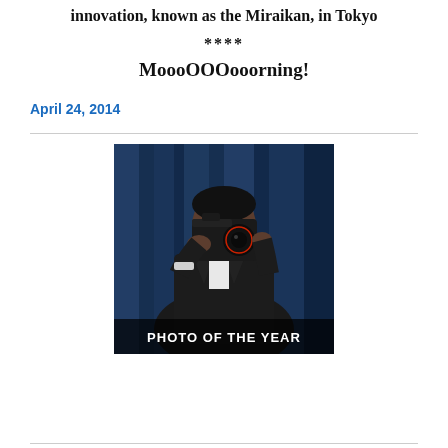innovation, known as the Miraikan, in Tokyo
****
MoooOOOooorning!
April 24, 2014
[Figure (photo): A man in a dark suit holding a DSLR camera up to his face, photographing with a blue curtain background. Text overlay at bottom reads 'PHOTO OF THE YEAR'.]